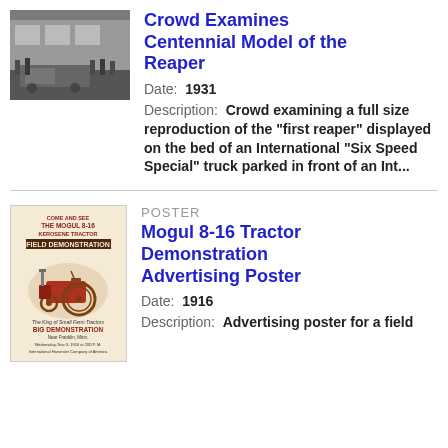[Figure (photo): Black and white photograph of a crowd examining the Centennial Model of the Reaper on the bed of a truck parked in front of a building.]
Crowd Examines Centennial Model of the Reaper
Date: 1931
Description: Crowd examining a full size reproduction of the "first reaper" displayed on the bed of an International "Six Speed Special" truck parked in front of an Int...
[Figure (photo): Color illustration of a Mogul 8-16 Kerosene Tractor Field Demonstration advertising poster showing a red tractor and text about a big demonstration near Franklin, Minn.]
POSTER
Mogul 8-16 Tractor Demonstration Advertising Poster
Date: 1916
Description: Advertising poster for a field